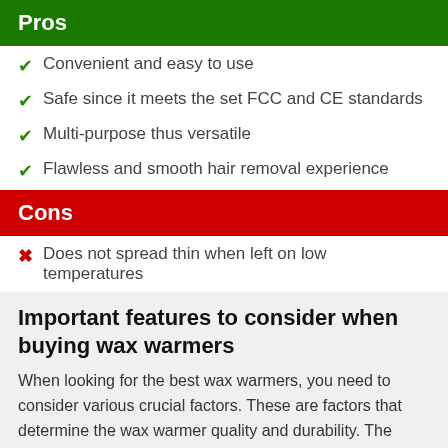Pros
Convenient and easy to use
Safe since it meets the set FCC and CE standards
Multi-purpose thus versatile
Flawless and smooth hair removal experience
Cons
Does not spread thin when left on low temperatures
Important features to consider when buying wax warmers
When looking for the best wax warmers, you need to consider various crucial factors. These are factors that determine the wax warmer quality and durability. The features are important if you want a wax machine that will meet your needs. They include the following: